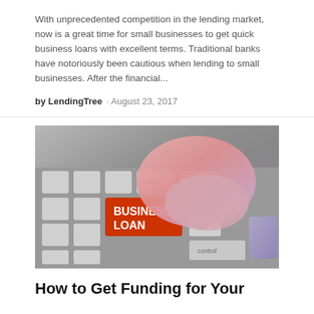With unprecedented competition in the lending market, now is a great time for small businesses to get quick business loans with excellent terms. Traditional banks have notoriously been cautious when lending to small businesses. After the financial...
by LendingTree · August 23, 2017
[Figure (photo): A finger pressing an orange keyboard key labeled 'BUSINESS LOAN' on a computer keyboard with other keys visible including enter, return, alt, and control.]
How to Get Funding for Your